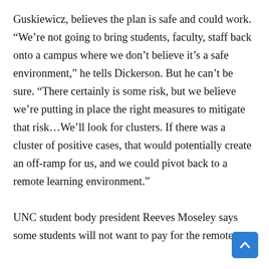Guskiewicz, believes the plan is safe and could work. “We’re not going to bring students, faculty, staff back onto a campus where we don’t believe it’s a safe environment,” he tells Dickerson. But he can’t be sure. “There certainly is some risk, but we believe we’re putting in place the right measures to mitigate that risk…We’ll look for clusters. If there was a cluster of positive cases, that would potentially create an off-ramp for us, and we could pivot back to a remote learning environment.”

UNC student body president Reeves Moseley says some students will not want to pay for the remote education they received, which has been the ethi...